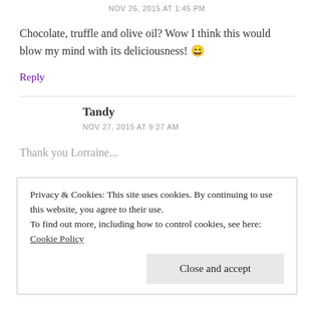Lorraine @ Not Quite Nigella
NOV 26, 2015 AT 1:45 PM
Chocolate, truffle and olive oil? Wow I think this would blow my mind with its deliciousness! 😄
Reply
Tandy
NOV 27, 2015 AT 9:27 AM
Thank you Lorraine...
Privacy & Cookies: This site uses cookies. By continuing to use this website, you agree to their use.
To find out more, including how to control cookies, see here: Cookie Policy
Close and accept